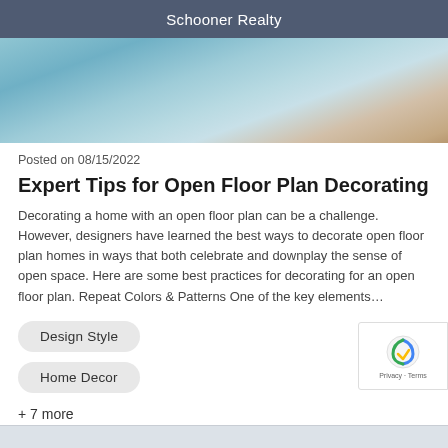Schooner Realty
[Figure (photo): Interior photo of a living room with light blue/teal sofa and striped rug on hardwood floor]
Posted on 08/15/2022
Expert Tips for Open Floor Plan Decorating
Decorating a home with an open floor plan can be a challenge. However, designers have learned the best ways to decorate open floor plan homes in ways that both celebrate and downplay the sense of open space. Here are some best practices for decorating for an open floor plan. Repeat Colors & Patterns One of the key elements…
Design Style
Home Decor
+ 7 more